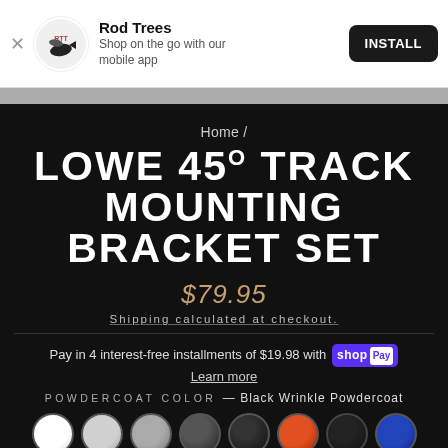[Figure (logo): Rod Trees app install banner with logo, app name, description, and install button]
LOWE 45° TRACK MOUNTING BRACKET SET
$79.95
Shipping calculated at checkout.
Pay in 4 interest-free installments of $19.98 with Shop Pay
Learn more
POWDERCOAT COLOR — Black Wrinkle Powdercoat